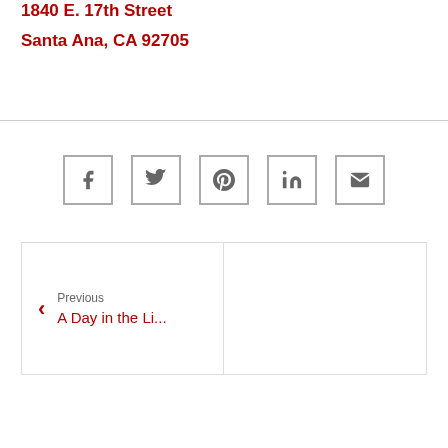1840 E. 17th Street
Santa Ana, CA 92705
[Figure (infographic): Row of five social media share buttons with icons: Facebook, Twitter, Pinterest, LinkedIn, Email]
Previous
A Day in the Li...